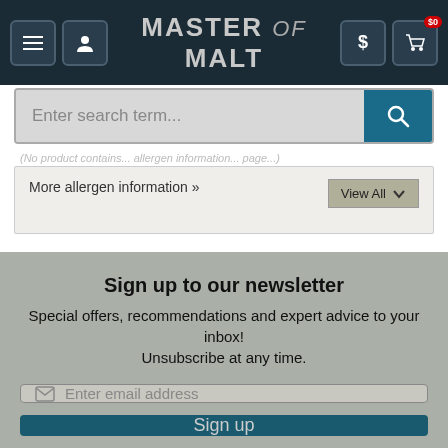Master of Malt
Enter search term...
More allergen information »
View All
Sign up to our newsletter
Special offers, recommendations and expert advice to your inbox! Unsubscribe at any time.
Enter email address
Sign up